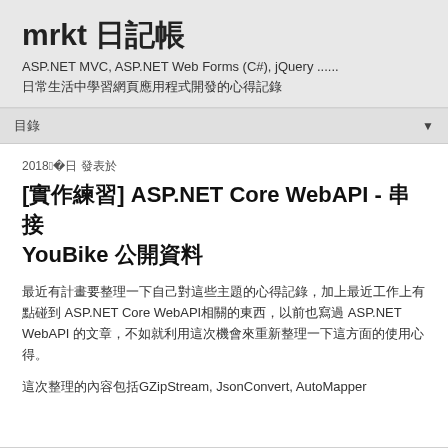mrkt 日記帳
ASP.NET MVC, ASP.NET Web Forms (C#), jQuery ......
日常生活中學習網頁應用程式開發的心得記錄
目錄 ▼
2018年1月16日 發表於
[實作練習] ASP.NET Core WebAPI - 串接 YouBike 公開資料
最近有計畫要整理一下自己對這些主題的心得記錄，加上最近工作上有點碰到 ASP.NET Core WebAPI相關的東西，以前也寫過 ASP.NET WebAPI 的文章，不如就利用這次機會來重新整理一下這方面的使用心得。
這次整理的內容包括GZipStream, JsonConvert, AutoMapper